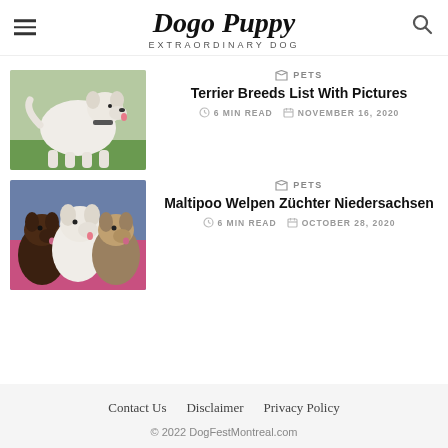Dogo Puppy — EXTRAORDINARY DOG
[Figure (photo): White Soft-Coated Wheaten Terrier standing on grass, show grooming]
PETS
Terrier Breeds List With Pictures
6 MIN READ   NOVEMBER 16, 2020
[Figure (photo): Three fluffy dogs — dark, white, and mixed colored — sitting together]
PETS
Maltipoo Welpen Züchter Niedersachsen
6 MIN READ   OCTOBER 28, 2020
Contact Us   Disclaimer   Privacy Policy
© 2022 DogFestMontreal.com